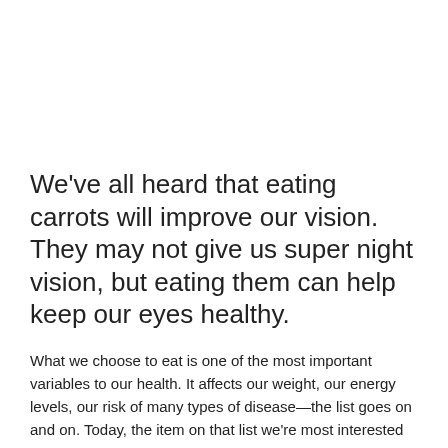We've all heard that eating carrots will improve our vision. They may not give us super night vision, but eating them can help keep our eyes healthy.
What we choose to eat is one of the most important variables to our health. It affects our weight, our energy levels, our risk of many types of disease—the list goes on and on. Today, the item on that list we're most interested in is how diet affects eye health.